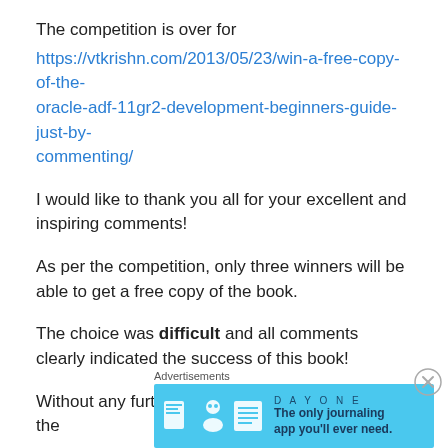The competition is over for
https://vtkrishn.com/2013/05/23/win-a-free-copy-of-the-oracle-adf-11gr2-development-beginners-guide-just-by-commenting/
I would like to thank you all for your excellent and inspiring comments!
As per the competition, only three winners will be able to get a free copy of the book.
The choice was difficult and all comments clearly indicated the success of this book!
Without any further delay, here are the names of the
Advertisements
[Figure (other): Day One journaling app advertisement banner with light blue background, app icons, and tagline 'The only journaling app you'll ever need.']